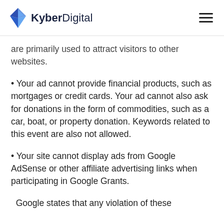KyberDigital
are primarily used to attract visitors to other websites.
Your ad cannot provide financial products, such as mortgages or credit cards. Your ad cannot also ask for donations in the form of commodities, such as a car, boat, or property donation. Keywords related to this event are also not allowed.
Your site cannot display ads from Google AdSense or other affiliate advertising links when participating in Google Grants.
Google states that any violation of these